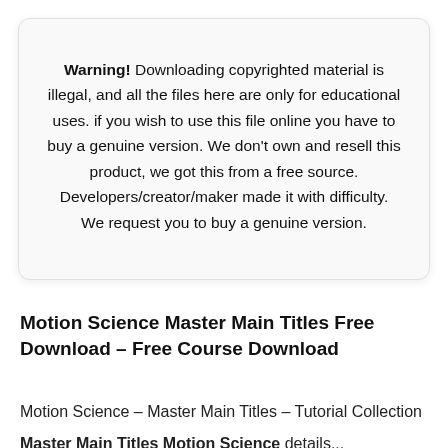Warning! Downloading copyrighted material is illegal, and all the files here are only for educational uses. if you wish to use this file online you have to buy a genuine version. We don't own and resell this product, we got this from a free source. Developers/creator/maker made it with difficulty. We request you to buy a genuine version.
Motion Science Master Main Titles Free Download – Free Course Download
Motion Science – Master Main Titles – Tutorial Collection
Master Main Titles Motion Science details...